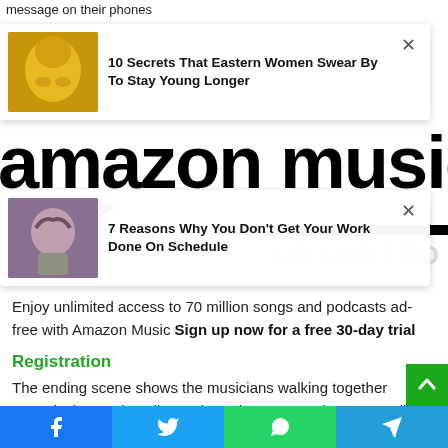message on their phones
[Figure (screenshot): Ad card 1: thumbnail of woman with gold face mask, title '10 Secrets That Eastern Women Swear By To Stay Young Longer']
[Figure (logo): Amazon Music logo banner with 'amazon music' text large and 'UNLIMITED' watermark]
[Figure (screenshot): Ad card 2: thumbnail of woman with hands on head, title '7 Reasons Why You Don't Get Your Work Done On Schedule']
Enjoy unlimited access to 70 million songs and podcasts ad-free with Amazon Music Sign up now for a free 30-day trial
Registration
The ending scene shows the musicians walking together towards the SoFi stadium, where the Los Angeles Rams will play the Cincinnati Bengals on Sunday.